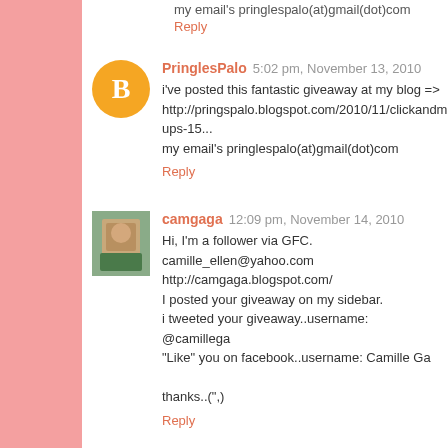my email's pringlespalo(at)gmail(dot)com
Reply
PringlesPalo  5:02 pm, November 13, 2010
i've posted this fantastic giveaway at my blog => http://pringspalo.blogspot.com/2010/11/clickandmake-ups-15... my email's pringlespalo(at)gmail(dot)com
Reply
camgaga  12:09 pm, November 14, 2010
Hi, I'm a follower via GFC.
camille_ellen@yahoo.com
http://camgaga.blogspot.com/
I posted your giveaway on my sidebar.
i tweeted your giveaway..username: @camillega
"Like" you on facebook..username: Camille Ga

thanks..(",)
Reply
Georgia  3:14 pm, November 14, 2010